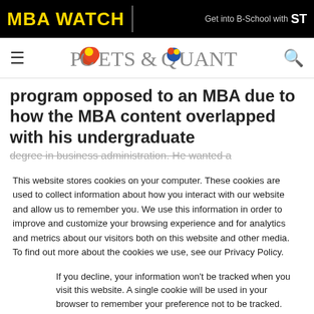MBA WATCH | Get into B-School with ST
[Figure (logo): Poets & Quants logo with navigation bar including hamburger menu and search icon]
program opposed to an MBA due to how the MBA content overlapped with his undergraduate degree in business administration. He wanted a
This website stores cookies on your computer. These cookies are used to collect information about how you interact with our website and allow us to remember you. We use this information in order to improve and customize your browsing experience and for analytics and metrics about our visitors both on this website and other media. To find out more about the cookies we use, see our Privacy Policy.
If you decline, your information won't be tracked when you visit this website. A single cookie will be used in your browser to remember your preference not to be tracked.
Accept | Decline